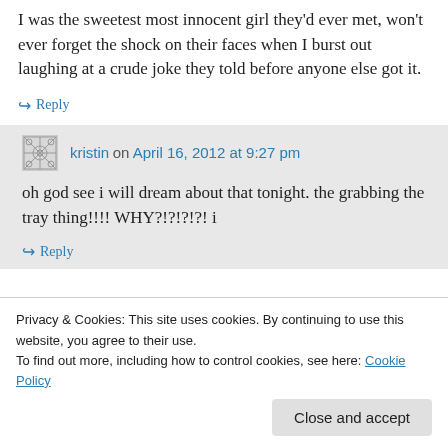I was the sweetest most innocent girl they'd ever met, won't ever forget the shock on their faces when I burst out laughing at a crude joke they told before anyone else got it.
↳ Reply
kristin on April 16, 2012 at 9:27 pm
oh god see i will dream about that tonight. the grabbing the tray thing!!!! WHY?!?!?!?! i
↳ Reply
Privacy & Cookies: This site uses cookies. By continuing to use this website, you agree to their use.
To find out more, including how to control cookies, see here: Cookie Policy
Close and accept